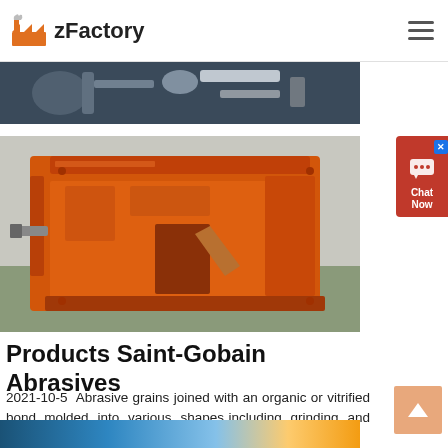zFactory
[Figure (photo): Partial view of industrial machinery — dark pipes and mechanical components visible at top of page]
[Figure (photo): Large orange industrial impact crusher / hammer mill machine photographed outdoors]
Products Saint-Gobain Abrasives
2021-10-5  Abrasive grains joined with an organic or vitrified bond, molded into various shapes including grinding and cut-off wheels,  with  or  without